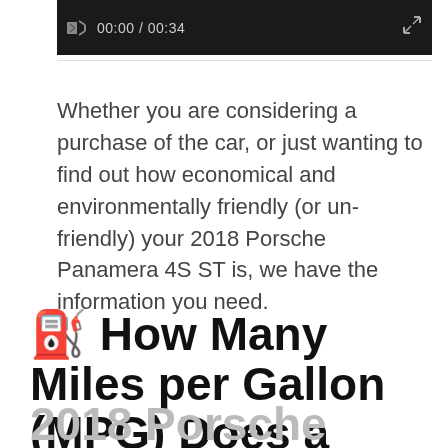[Figure (screenshot): Video player control bar showing muted speaker icon, timestamp 00:00 / 00:34, and expand icon on black background]
Whether you are considering a purchase of the car, or just wanting to find out how economical and environmentally friendly (or un-friendly) your 2018 Porsche Panamera 4S ST is, we have the information you need.
⛽ How Many Miles per Gallon (MPG) Does a 2018 Porsche